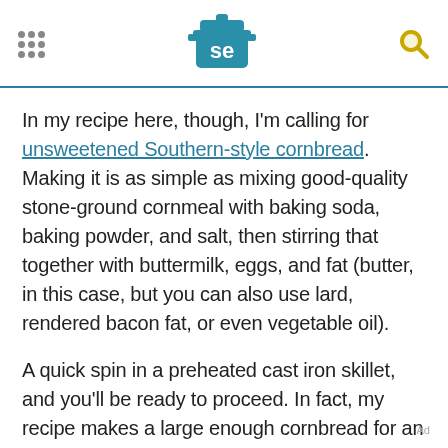Serious Eats logo with navigation dots and search icon
In my recipe here, though, I'm calling for unsweetened Southern-style cornbread. Making it is as simple as mixing good-quality stone-ground cornmeal with baking soda, baking powder, and salt, then stirring that together with buttermilk, eggs, and fat (butter, in this case, but you can also use lard, rendered bacon fat, or even vegetable oil).
A quick spin in a preheated cast iron skillet, and you'll be ready to proceed. In fact, my recipe makes a large enough cornbread for an entire
Ad